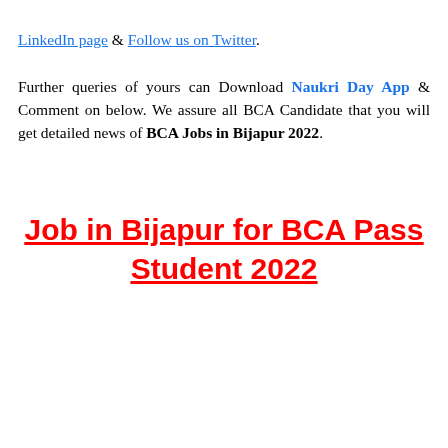LinkedIn page & Follow us on Twitter. Further queries of yours can Download Naukri Day App & Comment on below. We assure all BCA Candidate that you will get detailed news of BCA Jobs in Bijapur 2022.
Job in Bijapur for BCA Pass Student 2022